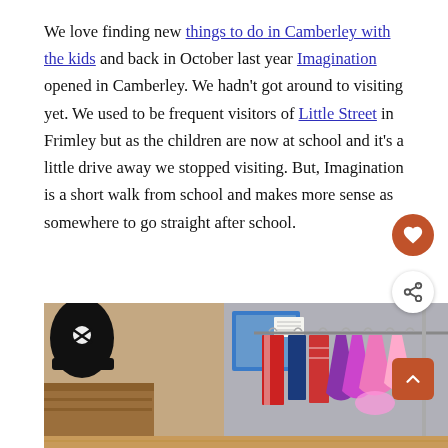We love finding new things to do in Camberley with the kids and back in October last year Imagination opened in Camberley. We hadn't got around to visiting yet. We used to be frequent visitors of Little Street in Frimley but as the children are now at school and it's a little drive away we stopped visiting. But, Imagination is a short walk from school and makes more sense as somewhere to go straight after school.
[Figure (photo): Interior photo of a children's play venue showing a rack of dress-up costumes including colorful princess dresses and a pirate hat, with beige/grey walls in the background.]